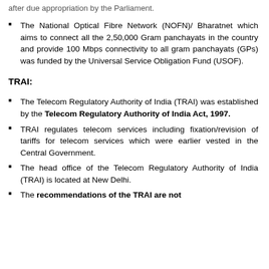The National Optical Fibre Network (NOFN)/Bharatnet which aims to connect all the 2,50,000 Gram panchayats in the country and provide 100 Mbps connectivity to all gram panchayats (GPs) was funded by the Universal Service Obligation Fund (USOF).
TRAI:
The Telecom Regulatory Authority of India (TRAI) was established by the Telecom Regulatory Authority of India Act, 1997.
TRAI regulates telecom services including fixation/revision of tariffs for telecom services which were earlier vested in the Central Government.
The head office of the Telecom Regulatory Authority of India (TRAI) is located at New Delhi.
The recommendations of the TRAI are not...